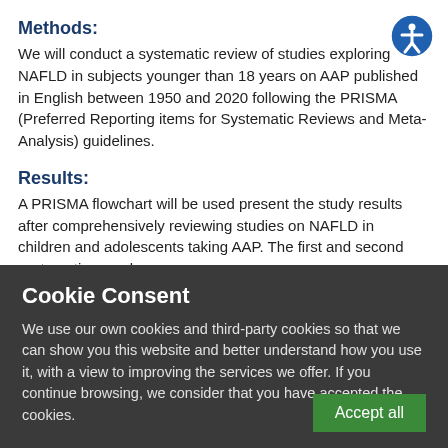Methods:
We will conduct a systematic review of studies exploring NAFLD in subjects younger than 18 years on AAP published in English between 1950 and 2020 following the PRISMA (Preferred Reporting items for Systematic Reviews and Meta-Analysis) guidelines.
Results:
A PRISMA flowchart will be used present the study results after comprehensively reviewing studies on NAFLD in children and adolescents taking AAP. The first and second systematic searches
Cookie Consent
We use our own cookies and third-party cookies so that we can show you this website and better understand how you use it, with a view to improving the services we offer. If you continue browsing, we consider that you have accepted the cookies.